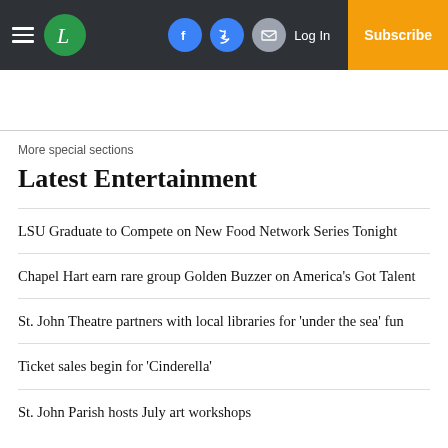Latest Entertainment — L newspaper header with hamburger menu, logo, social icons, Log In, Subscribe
More special sections
Latest Entertainment
LSU Graduate to Compete on New Food Network Series Tonight
Chapel Hart earn rare group Golden Buzzer on America's Got Talent
St. John Theatre partners with local libraries for 'under the sea' fun
Ticket sales begin for 'Cinderella'
St. John Parish hosts July art workshops